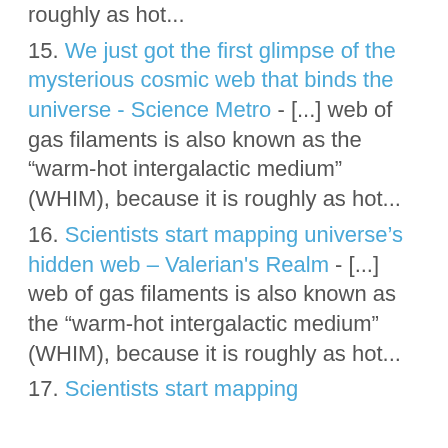roughly as hot...
15. We just got the first glimpse of the mysterious cosmic web that binds the universe - Science Metro - [...] web of gas filaments is also known as the “warm-hot intergalactic medium” (WHIM), because it is roughly as hot...
16. Scientists start mapping universe’s hidden web – Valerian's Realm - [...] web of gas filaments is also known as the “warm-hot intergalactic medium” (WHIM), because it is roughly as hot...
17. Scientists start mapping universe’s hidden web -